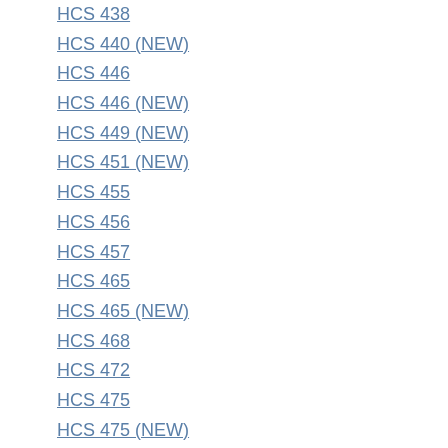HCS 438
HCS 440 (NEW)
HCS 446
HCS 446 (NEW)
HCS 449 (NEW)
HCS 451 (NEW)
HCS 455
HCS 456
HCS 457
HCS 465
HCS 465 (NEW)
HCS 468
HCS 472
HCS 475
HCS 475 (NEW)
HCS 478
HCS 483
HCS 490
HCS 493